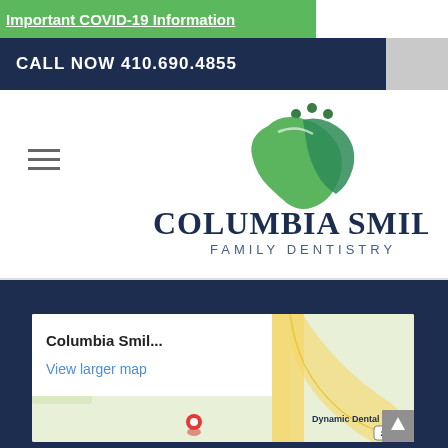Important COVID-19 Information
CALL NOW 410.690.4855
[Figure (logo): Columbia Smiles Family Dentistry logo with green swoosh tooth and dark navy text]
[Figure (map): Google Maps embed showing location of Columbia Smiles with popup showing 'Columbia Smil...' and 'View larger map' link and 'Dynamic Dental Care' label visible on map]